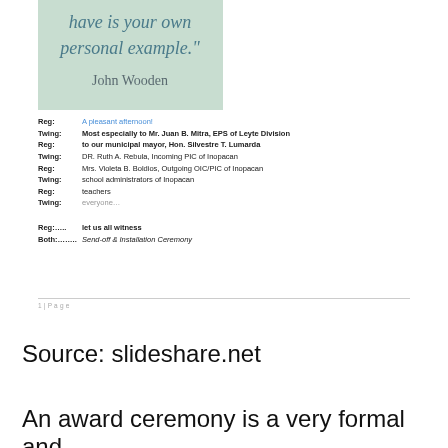[Figure (illustration): Image of a quote card with text: 'have is your own personal example.' attributed to John Wooden, with a light teal/green background.]
Reg: A pleasant afternoon!
Twing: Most especially to Mr. Juan B. Mitra, EPS of Leyte Division
Reg: to our municipal mayor, Hon. Silvestre T. Lumarda
Twing: DR. Ruth A. Rebula, incoming PIC of Inopacan
Reg: Mrs. Violeta B. Boldios, Outgoing OIC/PIC of Inopacan
Twing: school administrators of Inopacan
Reg: teachers
Twing: everyone…

Reg:….. let us all witness
Both:……..Send-off & Installation Ceremony
1 | P a g e
Source: slideshare.net
An award ceremony is a very formal and